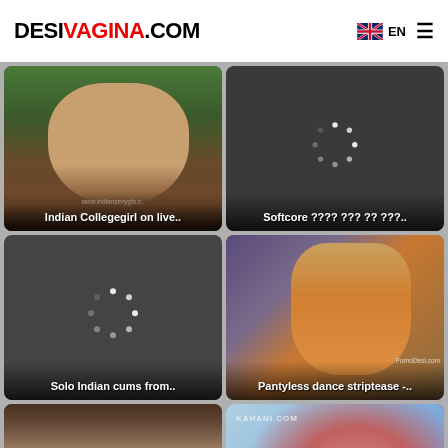DESIVAGINA.COM | EN
[Figure (photo): Thumbnail: Indian Collegegirl on live..]
Indian Collegegirl on live..
[Figure (photo): Thumbnail loading spinner: Softcore ???? ??? ?? ???..]
Softcore ???? ??? ?? ???..
[Figure (photo): Thumbnail loading spinner: Solo Indian cums from..]
Solo Indian cums from..
[Figure (photo): Thumbnail: Pantyless dance striptease -..]
Pantyless dance striptease -..
[Figure (photo): Thumbnail: bottom left video]
[Figure (photo): Thumbnail: bottom right video]